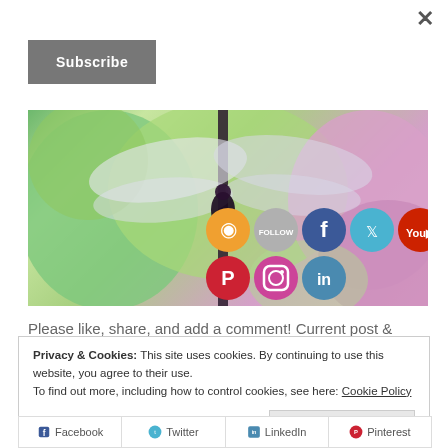×
Subscribe
[Figure (photo): Dragonfly perched on a stem with social media icons overlaid: RSS (orange), Follow (grey), Facebook (blue), Twitter (teal), YouTube (red), Pinterest (red), Instagram (red/orange), LinkedIn (blue)]
Please like, share, and add a comment! Current post &
Privacy & Cookies: This site uses cookies. By continuing to use this website, you agree to their use.
To find out more, including how to control cookies, see here: Cookie Policy
Close and accept
Facebook   Twitter   LinkedIn   Pinterest